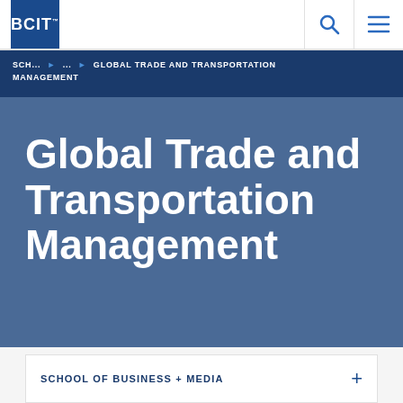[Figure (logo): BCIT logo — white bold text on dark blue square background]
SCH... ► ... ► GLOBAL TRADE AND TRANSPORTATION MANAGEMENT
Global Trade and Transportation Management
SCHOOL OF BUSINESS + MEDIA